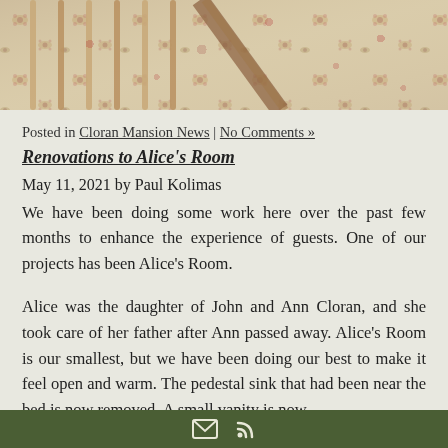[Figure (photo): Top portion of a bedroom with a floral-patterned bedspread/rug and what appears to be bed railings or headboard slats visible.]
Posted in Cloran Mansion News | No Comments »
Renovations to Alice's Room
May 11, 2021 by Paul Kolimas
We have been doing some work here over the past few months to enhance the experience of guests. One of our projects has been Alice's Room.
Alice was the daughter of John and Ann Cloran, and she took care of her father after Ann passed away. Alice's Room is our smallest, but we have been doing our best to make it feel open and warm. The pedestal sink that had been near the bed is now removed. A small vanity is now
✉ RSS